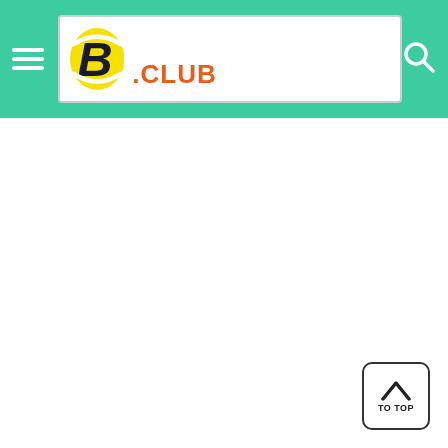[Figure (logo): BetAdvisor.club website header with teal/green background, hamburger menu icon on left, logo in center (stylized B with yellow oval and BETADVISOR .CLUB text), search icon on right]
[Figure (other): TO TOP button — square button with rounded corners, chevron/caret up arrow icon and text 'TO TOP' below it, positioned bottom-right corner of the page]